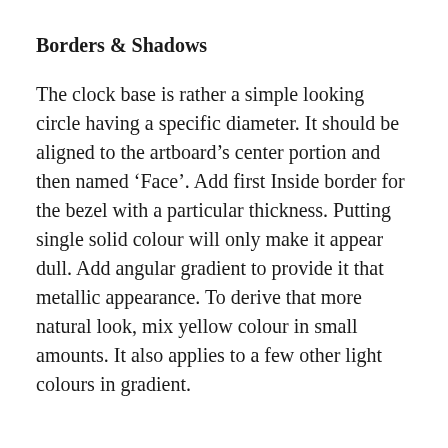Borders & Shadows
The clock base is rather a simple looking circle having a specific diameter. It should be aligned to the artboard’s center portion and then named ‘Face’. Add first Inside border for the bezel with a particular thickness. Putting single solid colour will only make it appear dull. Add angular gradient to provide it that metallic appearance. To derive that more natural look, mix yellow colour in small amounts. It also applies to a few other light colours in gradient.